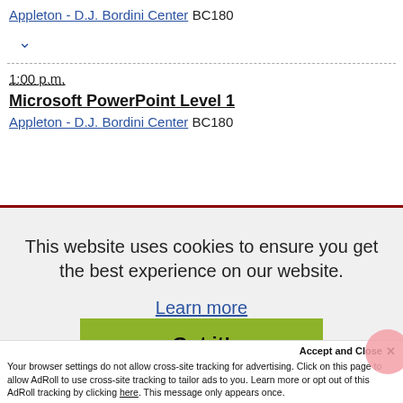Appleton - D.J. Bordini Center BC180
1:00 p.m. Microsoft PowerPoint Level 1 Appleton - D.J. Bordini Center BC180
This website uses cookies to ensure you get the best experience on our website.
Learn more
Got it!
Accept and Close ✕
Your browser settings do not allow cross-site tracking for advertising. Click on this page to allow AdRoll to use cross-site tracking to tailor ads to you. Learn more or opt out of this AdRoll tracking by clicking here. This message only appears once.